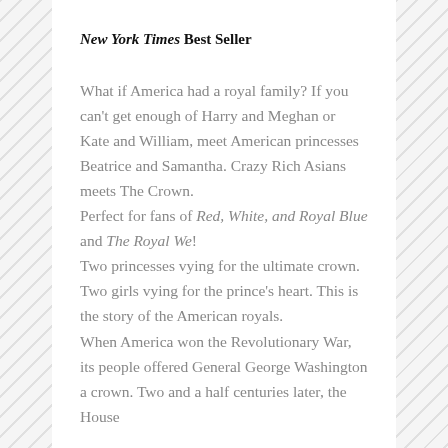New York Times Best Seller
What if America had a royal family? If you can't get enough of Harry and Meghan or Kate and William, meet American princesses Beatrice and Samantha. Crazy Rich Asians meets The Crown.
Perfect for fans of Red, White, and Royal Blue and The Royal We!
Two princesses vying for the ultimate crown. Two girls vying for the prince's heart. This is the story of the American royals.
When America won the Revolutionary War, its people offered General George Washington a crown. Two and a half centuries later, the House